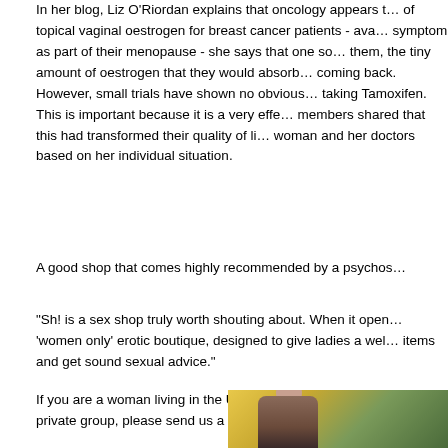In her blog, Liz O'Riordan explains that oncology appears to be wary of topical vaginal oestrogen for breast cancer patients - ava... symptom as part of their menopause - she says that one so... them, the tiny amount of oestrogen that they would absorb... coming back. However, small trials have shown no obvious... taking Tamoxifen. This is important because it is a very effe... members shared that this had transformed their quality of li... woman and her doctors based on her individual situation.
A good shop that comes highly recommended by a psychos...
“Sh! is a sex shop truly worth shouting about. When it open... ‘women only’ erotic boutique, designed to give ladies a wel... items and get sound sexual advice.”
If you are a woman living in the UK with a breast cancer dia... private group, please send us a message via our Public Fa...
[Figure (photo): A photograph showing a person outdoors with autumn foliage in yellow and green tones in the background.]